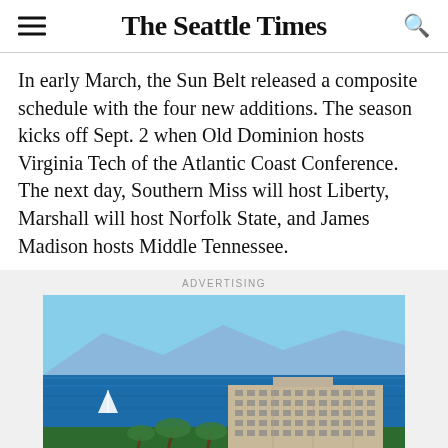The Seattle Times
In early March, the Sun Belt released a composite schedule with the four new additions. The season kicks off Sept. 2 when Old Dominion hosts Virginia Tech of the Atlantic Coast Conference. The next day, Southern Miss will host Liberty, Marshall will host Norfolk State, and James Madison hosts Middle Tennessee.
ADVERTISING
[Figure (photo): Aerial photograph of a large beachfront hotel building with the ocean in the background and palm trees in the foreground, likely in Hawaii (Maui). Blue ocean and mountains visible in the background.]